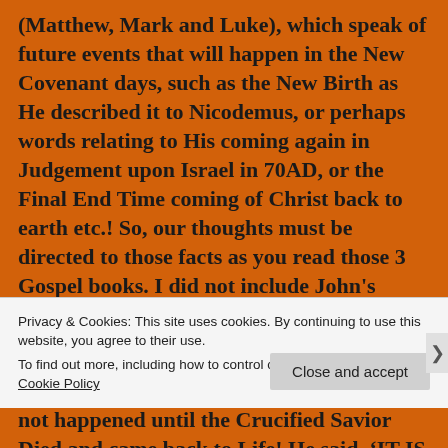(Matthew, Mark and Luke), which speak of future events that will happen in the New Covenant days, such as the New Birth as He described it to Nicodemus, or perhaps words relating to His coming again in Judgement upon Israel in 70AD, or the Final End Time coming of Christ back to earth etc.! So, our thoughts must be directed to those facts as you read those 3 Gospel books. I did not include John's Gospel because it is much different in its context than those three books.
The POINT then is the New Covenant did not happened until the Crucified Savior Died and came back to Life! He said, ‘IT IS FINISHED”! All O.T. covenant matters is over with. Even though the Jews kept on doing certain
Privacy & Cookies: This site uses cookies. By continuing to use this website, you agree to their use.
To find out more, including how to control cookies, see here:
Cookie Policy
Close and accept